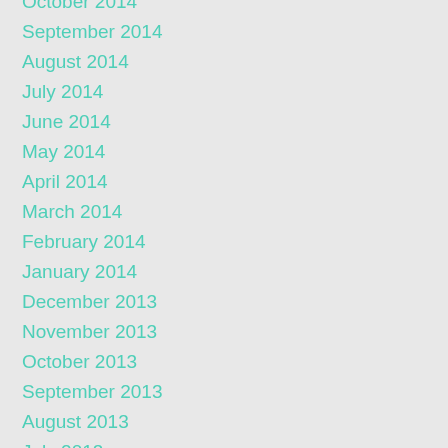October 2014
September 2014
August 2014
July 2014
June 2014
May 2014
April 2014
March 2014
February 2014
January 2014
December 2013
November 2013
October 2013
September 2013
August 2013
July 2013
June 2013
May 2013
April 2013
March 2013